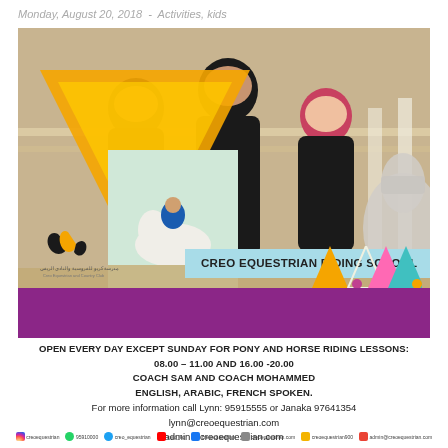Monday, August 20, 2018  -  Activities, kids
[Figure (photo): Advertisement photo for Creo Equestrian Riding School showing three young children wearing equestrian helmets and safety vests, with a horse visible in the background. Overlays include an orange triangle, a blue banner reading 'CREO EQUESTRIAN RIDING SCHOOL', a purple bottom bar, decorative colored triangles, a small inset photo of a child riding a white horse, and the Creo Equestrian and Country Club logo.]
OPEN EVERY DAY EXCEPT SUNDAY FOR PONY AND HORSE RIDING LESSONS:
08.00 – 11.00 AND 16.00 -20.00
COACH SAM AND COACH MOHAMMED
ENGLISH, ARABIC, FRENCH SPOKEN.
For more information call Lynn: 95915555 or Janaka 97641354
lynn@creoequestrian.com
admin@creoequestrian.com
creoequestrian  95910000  creo_equestrian  creo_eq  creoequestrian  creoequestrian.com  creoequestrian900  admin@creoequestrian.com